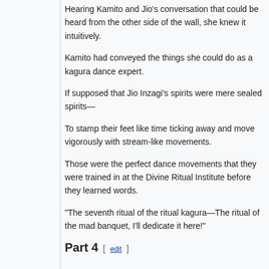Hearing Kamito and Jio's conversation that could be heard from the other side of the wall, she knew it intuitively.
Kamito had conveyed the things she could do as a kagura dance expert.
If supposed that Jio Inzagi's spirits were mere sealed spirits—
To stamp their feet like time ticking away and move vigorously with stream-like movements.
Those were the perfect dance movements that they were trained in at the Divine Ritual Institute before they learned words.
"The seventh ritual of the ritual kagura—The ritual of the mad banquet, I'll dedicate it here!"
Part 4